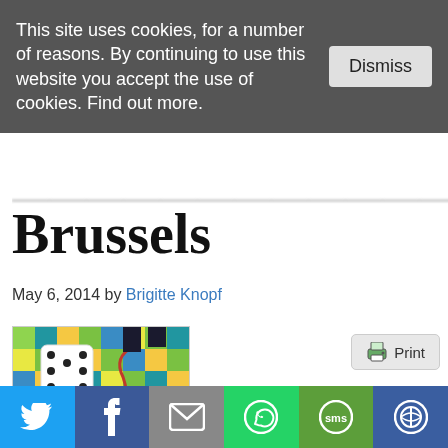This site uses cookies, for a number of reasons. By continuing to use this website you accept the use of cookies. Find out more.
Brussels
May 6, 2014 by Brigitte Knopf
[Figure (photo): Large white dice on a board game with colorful squares]
Science Museum London (photo Samuel Mann)
The European Commission has recently suggested a new
[Figure (infographic): Social media sharing bar with Twitter, Facebook, Email, WhatsApp, SMS, and More buttons]